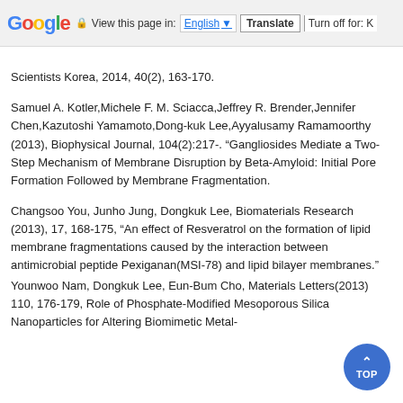Google | View this page in: English | Translate | Turn off for: K
Scientists Korea, 2014, 40(2), 163-170.
Samuel A. Kotler,Michele F. M. Sciacca,Jeffrey R. Brender,Jennifer Chen,Kazutoshi Yamamoto,Dong-kuk Lee,Ayyalusamy Ramamoorthy (2013), Biophysical Journal, 104(2):217-. “Gangliosides Mediate a Two-Step Mechanism of Membrane Disruption by Beta-Amyloid: Initial Pore Formation Followed by Membrane Fragmentation.
Changsoo You, Junho Jung, Dongkuk Lee, Biomaterials Research (2013), 17, 168-175, “An effect of Resveratrol on the formation of lipid membrane fragmentations caused by the interaction between antimicrobial peptide Pexiganan(MSI-78) and lipid bilayer membranes.”
Younwoo Nam, Dongkuk Lee, Eun-Bum Cho, Materials Letters(2013) 110, 176-179, Role of Phosphate-Modified Mesoporous Silica Nanoparticles for Altering Biomimetic Metal-